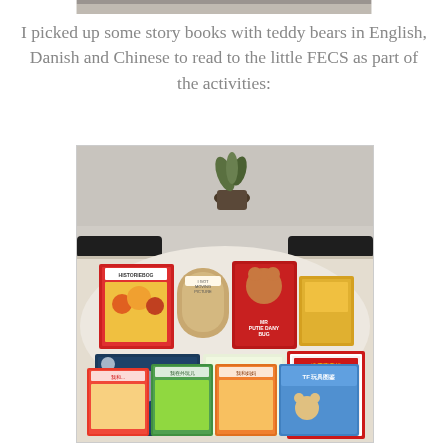[Figure (photo): Partial view of a photo at the top of the page, cropped]
I picked up some story books with teddy bears in English, Danish and Chinese to read to the little FECS as part of the activities:
[Figure (photo): A collection of children's story books featuring teddy bears, spread out on a white table. Books are in English, Danish, and Chinese. Titles visible include 'HISTORIEBOG', 'Just Teddy', 'I Love You Through and Through', and several Chinese-language teddy bear books. There is a plant and black chairs visible in the background.]